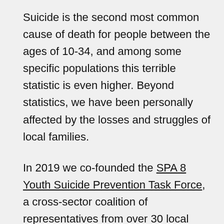Suicide is the second most common cause of death for people between the ages of 10-34, and among some specific populations this terrible statistic is even higher. Beyond statistics, we have been personally affected by the losses and struggles of local families.
In 2019 we co-founded the SPA 8 Youth Suicide Prevention Task Force, a cross-sector coalition of representatives from over 30 local organizations and agencies within Los Angeles County's Service Planning Area (SPA) 8. Dedicated to educating and providing resources to the community, the Task Force is part of a national effort to reduce